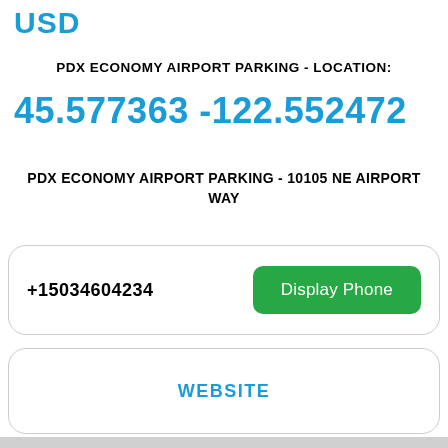USD
PDX ECONOMY AIRPORT PARKING - LOCATION:
45.577363 -122.552472
PDX ECONOMY AIRPORT PARKING - 10105 NE AIRPORT WAY
+15034604234  Display Phone
WEBSITE